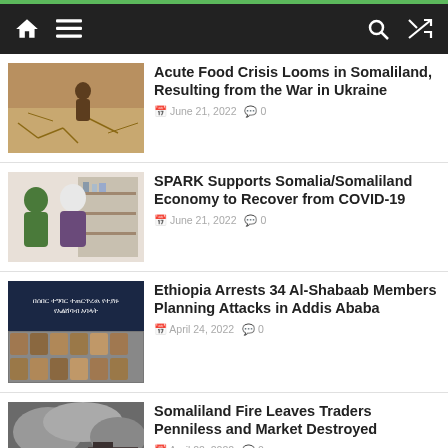Navigation bar with home, menu, search, and shuffle icons
Acute Food Crisis Looms in Somaliland, Resulting from the War in Ukraine
June 21, 2022  0
SPARK Supports Somalia/Somaliland Economy to Recover from COVID-19
June 21, 2022  0
Ethiopia Arrests 34 Al-Shabaab Members Planning Attacks in Addis Ababa
April 24, 2022  0
Somaliland Fire Leaves Traders Penniless and Market Destroyed
April 22, 2022  0